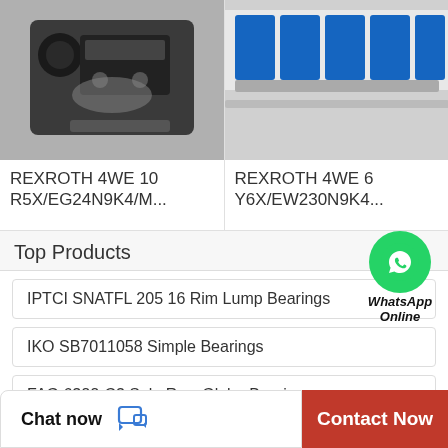[Figure (photo): Photo of REXROTH hydraulic valve, dark metallic component on grey surface]
[Figure (photo): Photo of REXROTH hydraulic valves, blue colored components on rail]
REXROTH 4WE 10 R5X/EG24N9K4/M...
REXROTH 4WE 6 Y6X/EW230N9K4...
Top Products
[Figure (logo): WhatsApp green circle icon with phone handset]
WhatsApp Online
IPTCI SNATFL 205 16 Rim Lump Bearings
IKO SB7011058 Simple Bearings
FAG 6322-C3 Sole Row Globe Bearings
Chat now
Contact Now